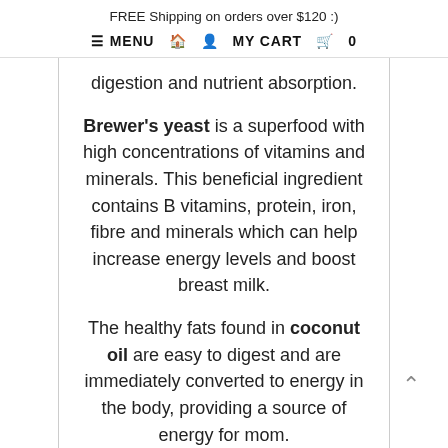FREE Shipping on orders over $120 :)
☰ MENU  🏠  👤  MY CART  🛒  0
digestion and nutrient absorption.
Brewer's yeast is a superfood with high concentrations of vitamins and minerals. This beneficial ingredient contains B vitamins, protein, iron, fibre and minerals which can help increase energy levels and boost breast milk.
The healthy fats found in coconut oil are easy to digest and are immediately converted to energy in the body, providing a source of energy for mom.
When lactating mothers add coconut oil to their diets they have significantly